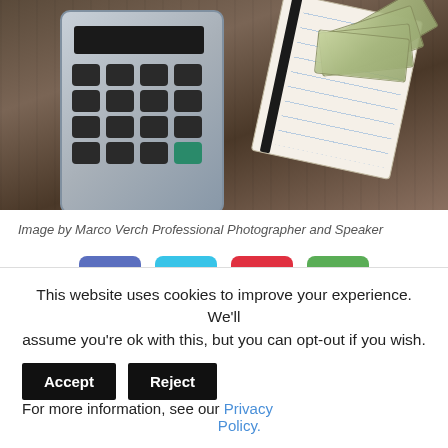[Figure (photo): A calculator, spiral notebook, and fanned US dollar bills arranged on a wooden surface, viewed from above.]
Image by Marco Verch Professional Photographer and Speaker
[Figure (infographic): Four social media share buttons: Facebook (blue), Twitter (cyan), Pinterest (red), WhatsApp (green)]
This website uses cookies to improve your experience. We'll assume you're ok with this, but you can opt-out if you wish. For more information, see our Privacy Policy.